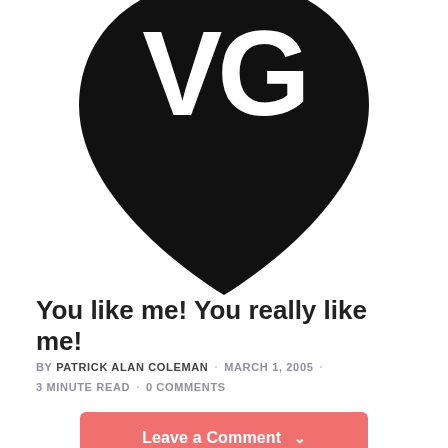[Figure (logo): VG logo: black shield/heart shape with white letters VG inside, partially cropped at top]
You like me! You really like me!
by PATRICK ALAN COLEMAN · MARCH 1, 2005 · 3 MINUTE READ · 0 COMMENTS
Leave a Comment ∨